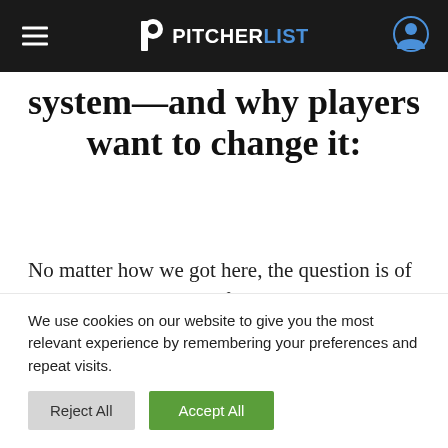PITCHERLIST
system—and why players want to change it:
No matter how we got here, the question is of who gets to take credit for all the money that's being made in baseball, and accordingly, who gets to keep what out of the profits. Naturally
We use cookies on our website to give you the most relevant experience by remembering your preferences and repeat visits.